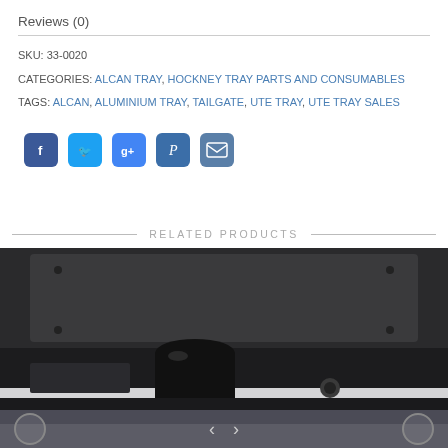Reviews (0)
SKU: 33-0020
CATEGORIES: ALCAN TRAY, HOCKNEY TRAY PARTS AND CONSUMABLES
TAGS: ALCAN, ALUMINIUM TRAY, TAILGATE, UTE TRAY, UTE TRAY SALES
[Figure (infographic): Social share icons: Facebook, Twitter, Google+, Pinterest, Email]
RELATED PRODUCTS
[Figure (photo): Close-up photo of a dark metal tray/toolbox product showing the top surface and front edge with a cylindrical post holder and locking mechanism]